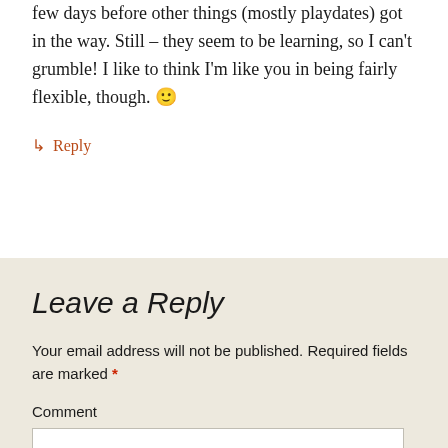few days before other things (mostly playdates) got in the way. Still – they seem to be learning, so I can't grumble! I like to think I'm like you in being fairly flexible, though. 🙂
↳ Reply
Leave a Reply
Your email address will not be published. Required fields are marked *
Comment